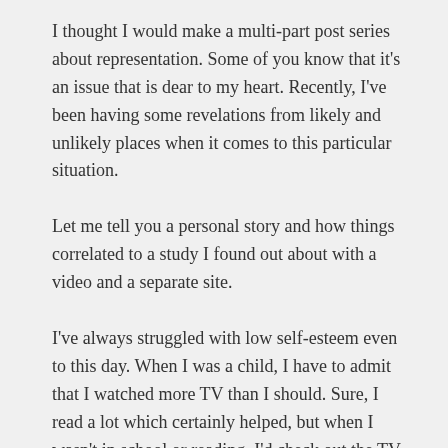I thought I would make a multi-part post series about representation. Some of you know that it's an issue that is dear to my heart. Recently, I've been having some revelations from likely and unlikely places when it comes to this particular situation.
Let me tell you a personal story and how things correlated to a study I found out about with a video and a separate site.
I've always struggled with low self-esteem even to this day. When I was a child, I have to admit that I watched more TV than I should. Sure, I read a lot which certainly helped, but when I wasn't in school or reading, I'd check out the TV. I watched a lot of cartoons and live action shows. One thing I wondered was that there weren't many heroes who looked like me. There